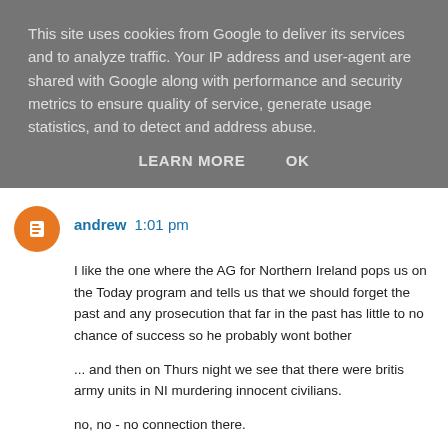This site uses cookies from Google to deliver its services and to analyze traffic. Your IP address and user-agent are shared with Google along with performance and security metrics to ensure quality of service, generate usage statistics, and to detect and address abuse.
LEARN MORE    OK
andrew  1:01 pm
I like the one where the AG for Northern Ireland pops us on the Today program and tells us that we should forget the past and any prosecution that far in the past has little to no chance of success so he probably wont bother
... and then on Thurs night we see that there were britis army units in NI murdering innocent civilians.
no, no - no connection there.
Reply